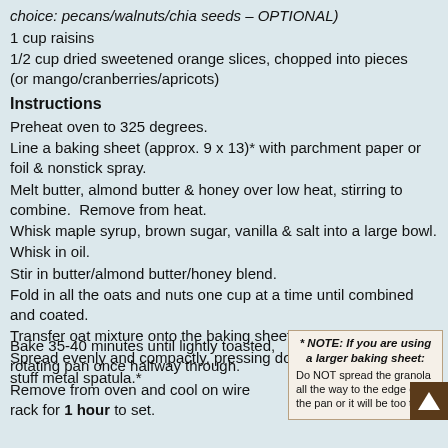choice: pecans/walnuts/chia seeds – OPTIONAL)
1 cup raisins
1/2 cup dried sweetened orange slices, chopped into pieces (or mango/cranberries/apricots)
Instructions
Preheat oven to 325 degrees.
Line a baking sheet (approx. 9 x 13)* with parchment paper or foil & nonstick spray.
Melt butter, almond butter & honey over low heat, stirring to combine. Remove from heat.
Whisk maple syrup, brown sugar, vanilla & salt into a large bowl.
Whisk in oil.
Stir in butter/almond butter/honey blend.
Fold in all the oats and nuts one cup at a time until combined and coated.
Transfer oat mixture onto the baking sheet.
Spread evenly and compactly, pressing down mixture with a stuff metal spatula.*

Bake 35-40 minutes until lightly toasted, rotating pan once halfway through.
Remove from oven and cool on wire rack for 1 hour to set.
* NOTE: If you are using a larger baking sheet: Do NOT spread the granola all the way to the edge of the pan or it will be too thi…